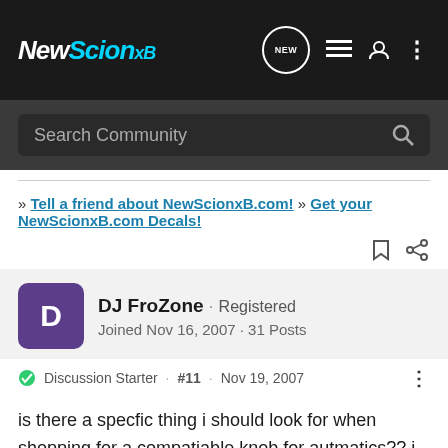NewScionxB
Search Community
» Tell a friend about NewScionxB.com! » Get your NewScionxB.com Decals!
DJ FroZone · Registered
Joined Nov 16, 2007 · 31 Posts
Discussion Starter · #11 · Nov 19, 2007
is there a specfic thing i should look for when shopping for a compatiable knob for autmatics?? i was looking a t a knob similar to the stock one but found out it would not work automatic. something about needing a button.